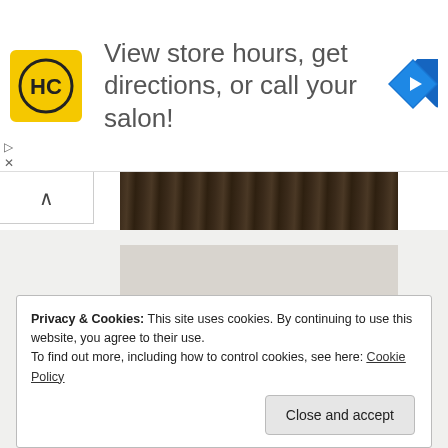[Figure (screenshot): Advertisement banner with HC logo (yellow square with HC text) and text 'View store hours, get directions, or call your salon!' with blue navigation diamond icon on the right. Small play and X icons on the left side.]
[Figure (photo): Dark wood grain texture strip at top of scroll area]
[Figure (photo): Photograph of the back of a dark navy/blue smartphone device against a beige/cream background, showing a camera module with lens and flash]
Privacy & Cookies: This site uses cookies. By continuing to use this website, you agree to their use.
To find out more, including how to control cookies, see here: Cookie Policy
Close and accept
[Figure (photo): Bottom portion of dark wood grain texture strip]